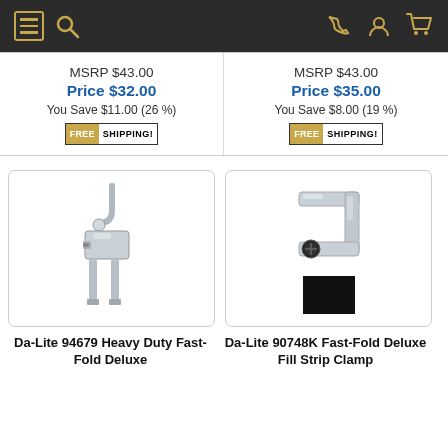[Figure (screenshot): Website navigation header bar with dark background, menu icon, search icon on left, phone/user/cart icons on right, all in gold color]
MSRP $43.00
Price $32.00
You Save $11.00 (26 %)
[Figure (infographic): FREE SHIPPING! badge]
MSRP $43.00
Price $35.00
You Save $8.00 (19 %)
[Figure (infographic): FREE SHIPPING! badge]
[Figure (photo): Da-Lite 94679 Heavy Duty Fast-Fold Deluxe clamp/bracket hardware in silver/chrome]
[Figure (photo): Da-Lite 90748K Fast-Fold Deluxe Fill Strip Clamp in silver with black thumb screw, plus black color swatch]
Da-Lite 94679 Heavy Duty Fast-Fold Deluxe
Da-Lite 90748K Fast-Fold Deluxe Fill Strip Clamp